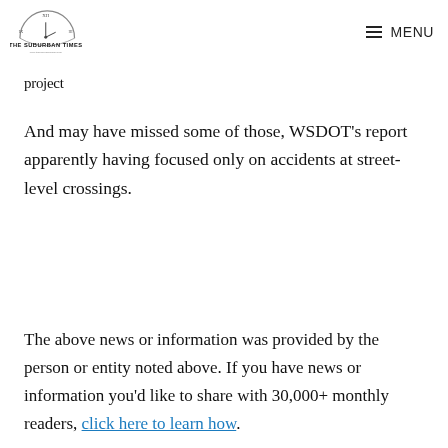THE SUBURBAN TIMES — MENU
project
And may have missed some of those, WSDOT's report apparently having focused only on accidents at street-level crossings.
The above news or information was provided by the person or entity noted above. If you have news or information you'd like to share with 30,000+ monthly readers, click here to learn how.